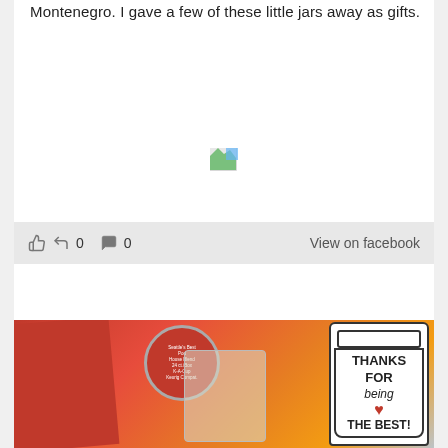Montenegro. I gave a few of these little jars away as gifts.
[Figure (other): Broken image placeholder icon]
👍 ↪ 0 💬 0    View on facebook
[Figure (photo): Photo showing Seattle coffee products, a K-cup, a clear bag, and a paper gift tag shaped like a coffee cup that reads THANKS FOR being ♥ THE BEST!]